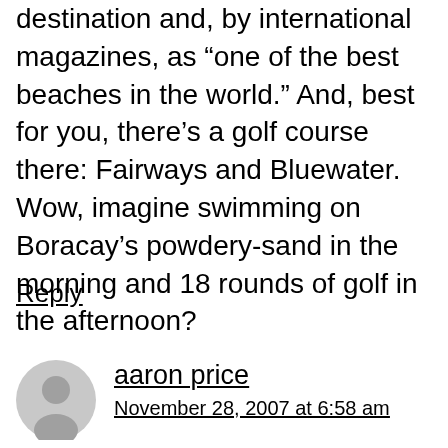destination and, by international magazines, as “one of the best beaches in the world.” And, best for you, there’s a golf course there: Fairways and Bluewater. Wow, imagine swimming on Boracay’s powdery-sand in the morning and 18 rounds of golf in the afternoon?
Reply
aaron price
November 28, 2007 at 6:58 am